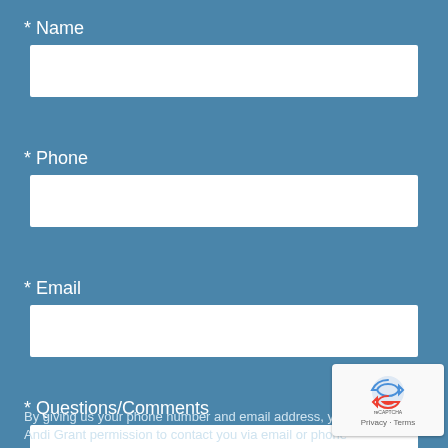* Name
* Phone
* Email
* Questions/Comments
By giving us your phone number and email address, you are giving Andi Grant permission to contact you via email or phone
[Figure (other): reCAPTCHA badge with privacy and terms links]